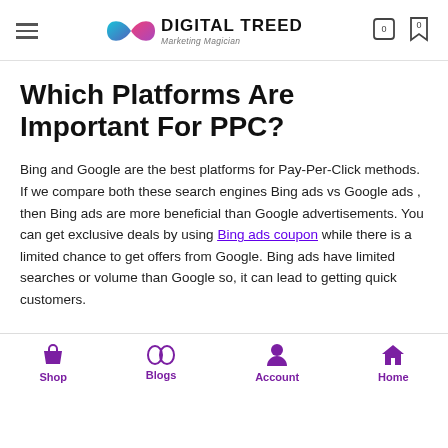Digital Treed — Marketing Magician
Which Platforms Are Important For PPC?
Bing and Google are the best platforms for Pay-Per-Click methods. If we compare both these search engines Bing ads vs Google ads , then Bing ads are more beneficial than Google advertisements. You can get exclusive deals by using Bing ads coupon while there is a limited chance to get offers from Google. Bing ads have limited searches or volume than Google so, it can lead to getting quick customers.
Shop  Blogs  Account  Home